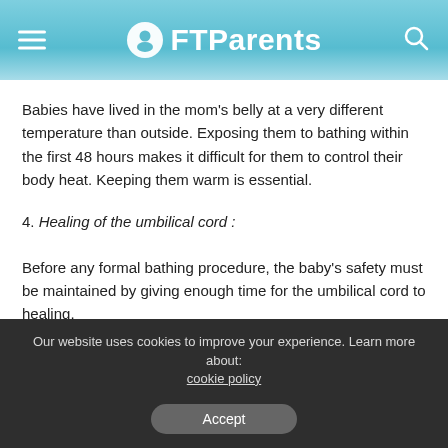FTParents
Babies have lived in the mom’s belly at a very different temperature than outside. Exposing them to bathing within the first 48 hours makes it difficult for them to control their body heat. Keeping them warm is essential.
4. Healing of the umbilical cord :
Before any formal bathing procedure, the baby’s safety must be maintained by giving enough time for the umbilical cord to healing.
Our website uses cookies to improve your experience. Learn more about: cookie policy  Accept